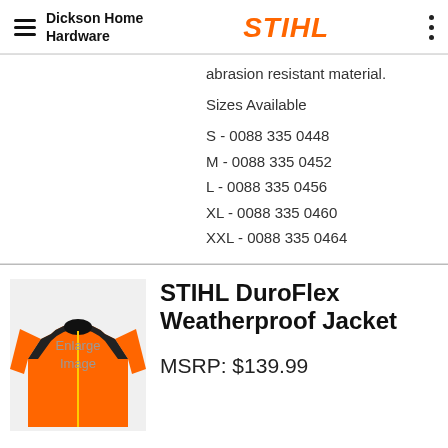Dickson Home Hardware
abrasion resistant material.
Sizes Available
S - 0088 335 0448
M - 0088 335 0452
L - 0088 335 0456
XL - 0088 335 0460
XXL - 0088 335 0464
[Figure (photo): Orange and black STIHL DuroFlex Weatherproof Jacket shown on a product page with Enlarge Image overlay text]
STIHL DuroFlex Weatherproof Jacket
MSRP: $139.99